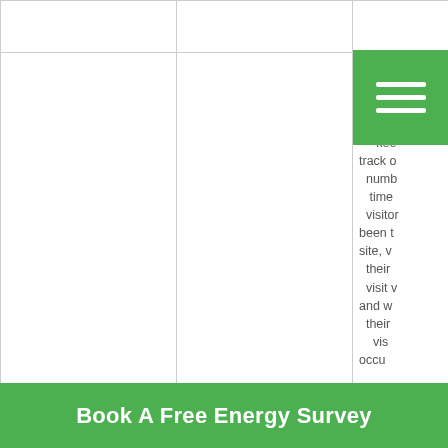|  |  | Descri[ption] |
| --- | --- | --- |
| Google | _utma | Goo[gle Analytics] anal[ytics] cook[ie] whi[ch] kee[ps] track o[f] numb[er of] time[s a] visitor[ has] been t[o the] site, w[hen] their [last] visit w[as] and w[hen] their [first] vis[it] occur[red] |
|  | _utmb | A Go[ogle...] |
Book A Free Energy Survey